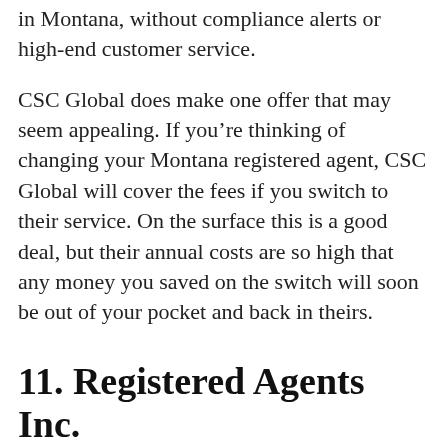in Montana, without compliance alerts or high-end customer service.
CSC Global does make one offer that may seem appealing. If you’re thinking of changing your Montana registered agent, CSC Global will cover the fees if you switch to their service. On the surface this is a good deal, but their annual costs are so high that any money you saved on the switch will soon be out of your pocket and back in theirs.
11. Registered Agents Inc.
Registered Agents Inc. should lose points for lack of name originality, but where the real demerits come